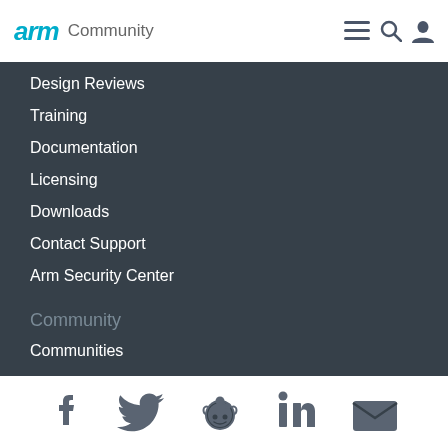arm Community
Design Reviews
Training
Documentation
Licensing
Downloads
Contact Support
Arm Security Center
Community
Communities
Forums
Blogs
[Figure (infographic): Social media icons: Facebook, Twitter, Reddit, LinkedIn, Email]